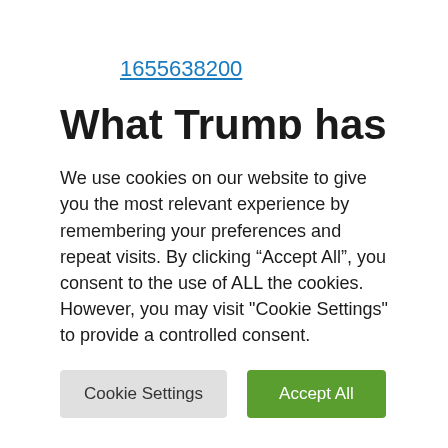1655638200
What Trump has stated in regards to the January 6 Capitol rise up
Here's what the previous president has stated in regards to the occasions of that
We use cookies on our website to give you the most relevant experience by remembering your preferences and repeat visits. By clicking “Accept All”, you consent to the use of ALL the cookies. However, you may visit "Cookie Settings" to provide a controlled consent.